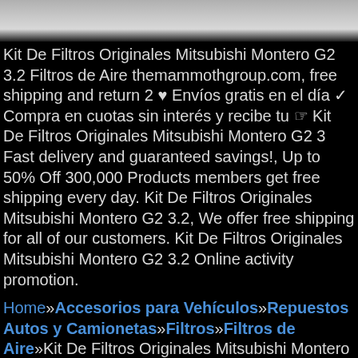[Figure (photo): Top portion of page showing a blurred/faded photograph with grey and dark tones, appearing to be a product or sky image.]
Kit De Filtros Originales Mitsubishi Montero G2 3.2 Filtros de Aire themammothgroup.com, free shipping and return 2 ♥ Envíos gratis en el día ✓ Compra en cuotas sin interés y recibe tu ☞ Kit De Filtros Originales Mitsubishi Montero G2 3 Fast delivery and guaranteed savings!, Up to 50% Off 300,000 Products members get free shipping every day. Kit De Filtros Originales Mitsubishi Montero G2 3.2, We offer free shipping for all of our customers. Kit De Filtros Originales Mitsubishi Montero G2 3.2 Online activity promotion.
Home»Accesorios para Vehículos»Repuestos Autos y Camionetas»Filtros»Filtros de Aire»Kit De Filtros Originales Mitsubishi Montero G2 3.2
TÉRMINOS Y CONDICIONES, -Antes de confirmar tu compra confirmar stock mediante mensaje te